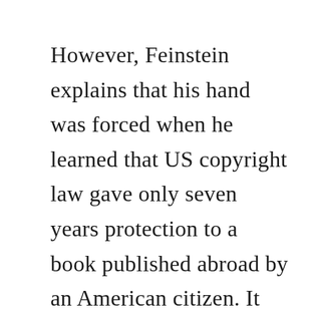However, Feinstein explains that his hand was forced when he learned that US copyright law gave only seven years protection to a book published abroad by an American citizen. It was likely that a pirated US edition would soon appear, so Hughes decided that it was only common sense to secure future royalties for himself and his growing children. He could not have foreseen the reality that The Bell…